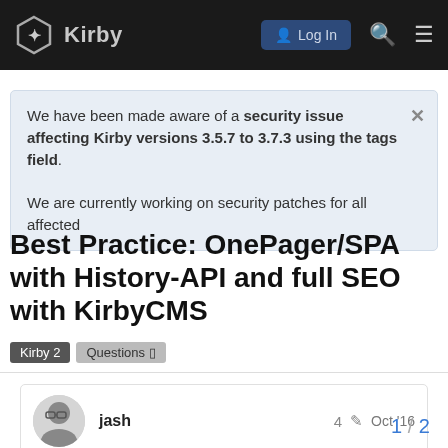Kirby — Log In
We have been made aware of a security issue affecting Kirby versions 3.5.7 to 3.7.3 using the tags field.

We are currently working on security patches for all affected
Best Practice: OnePager/SPA with History-API and full SEO with KirbyCMS
Kirby 2   Questions
jash   4   Oct '16
Currently, I'm looking for a rock solid soluti OnePager/SPA (SinglePageApplication) w
1 / 2